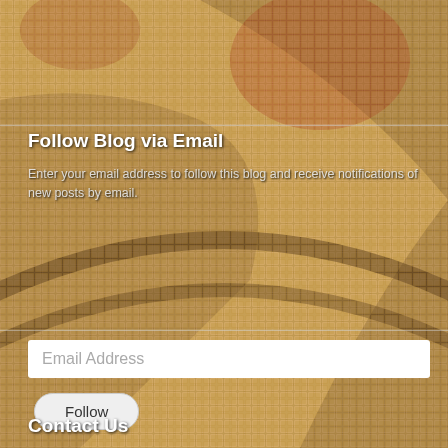[Figure (photo): Mosaic tile background showing ancient Roman or Byzantine mosaic with beige/cream colored stone tiles and dark reddish-brown decorative patterns]
Follow Blog via Email
Enter your email address to follow this blog and receive notifications of new posts by email.
Email Address
Follow
Join 008 other followers
Contact Info
Contact Us